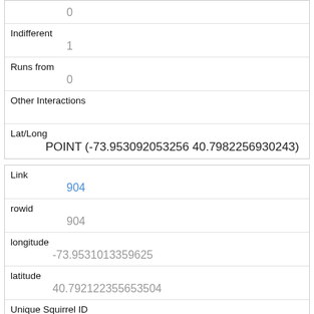| 0 |
| Indifferent | 1 |
| Runs from | 0 |
| Other Interactions |  |
| Lat/Long | POINT (-73.953092053256 40.7982256930243) |
| Link | 904 |
| rowid | 904 |
| longitude | -73.9531013359625 |
| latitude | 40.792122355653504 |
| Unique Squirrel ID | 36I-PM-1007-04 |
| Hectare |  |